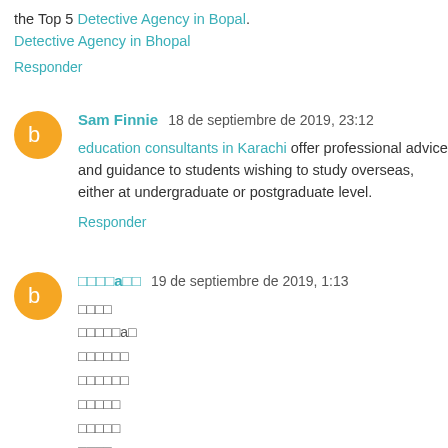the Top 5 Detective Agency in Bopal. Detective Agency in Bhopal
Responder
Sam Finnie  18 de septiembre de 2019, 23:12
education consultants in Karachi offer professional advice and guidance to students wishing to study overseas, either at undergraduate or postgraduate level.
Responder
□□□□a□□  19 de septiembre de 2019, 1:13
□□□□
□□□□□a□
□□□□□□
□□□□□□
□□□□□
□□□□□
□□□□
□□□□□□□□